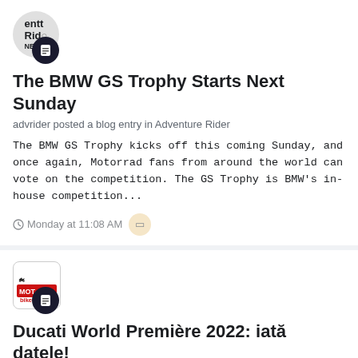[Figure (logo): Adventure Rider logo with document icon overlay]
The BMW GS Trophy Starts Next Sunday
advrider posted a blog entry in Adventure Rider
The BMW GS Trophy kicks off this coming Sunday, and once again, Motorrad fans from around the world can vote on the competition. The GS Trophy is BMW's in-house competition...
Monday at 11:08 AM
[Figure (logo): Motobikes.ro logo with document icon overlay]
Ducati World Première 2022: iată datele!
Motobikes posted a blog entry in Motobikes.ro
Ducati a dezvăluit datele lansărilor pentru modelele 2023. Seria web prin care producătorul din Borgo Panigale și-a prezentat anul trecut noile modele a-a bucurat de succes